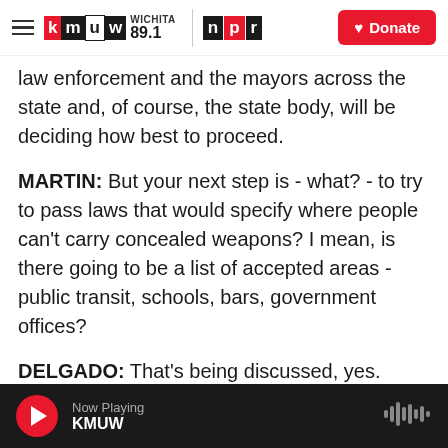KMUW Wichita 89.1 | NPR | Donate
law enforcement and the mayors across the state and, of course, the state body, will be deciding how best to proceed.
MARTIN: But your next step is - what? - to try to pass laws that would specify where people can't carry concealed weapons? I mean, is there going to be a list of accepted areas - public transit, schools, bars, government offices?
DELGADO: That's being discussed, yes. There needs to be a collaborative conversation with not just those in the state body but, you know, law enforcement, our mayors, local elected officials, to
Now Playing KMUW